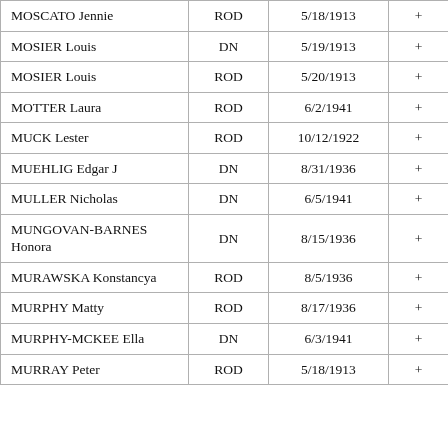| MOSCATO Jennie | ROD | 5/18/1913 | + |
| MOSIER Louis | DN | 5/19/1913 | + |
| MOSIER Louis | ROD | 5/20/1913 | + |
| MOTTER Laura | ROD | 6/2/1941 | + |
| MUCK Lester | ROD | 10/12/1922 | + |
| MUEHLIG Edgar J | DN | 8/31/1936 | + |
| MULLER Nicholas | DN | 6/5/1941 | + |
| MUNGOVAN-BARNES Honora | DN | 8/15/1936 | + |
| MURAWSKA Konstancya | ROD | 8/5/1936 | + |
| MURPHY Matty | ROD | 8/17/1936 | + |
| MURPHY-MCKEE Ella | DN | 6/3/1941 | + |
| MURRAY Peter | ROD | 5/18/1913 | + |